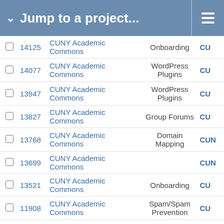Jump to a project...
|  | ID | Project | Category | Assignee |
| --- | --- | --- | --- | --- |
|  | 14125 | CUNY Academic Commons | Onboarding | CU |
|  | 14077 | CUNY Academic Commons | WordPress Plugins | CU |
|  | 13947 | CUNY Academic Commons | WordPress Plugins | CU |
|  | 13827 | CUNY Academic Commons | Group Forums | CU |
|  | 13768 | CUNY Academic Commons | Domain Mapping | CUN |
|  | 13699 | CUNY Academic Commons |  | CUN |
|  | 13521 | CUNY Academic Commons | Onboarding | CU |
|  | 11908 | CUNY Academic Commons | Spam/Spam Prevention | CU |
|  | 13341 | CUNY Academic Commons | Group Forums | CU |
|  | 13328 | CUNY Academic Commons | Group Forums | CUN |
|  | 13238 | CUNY Academic Commons | WordPress - Media | CU |
|  | 13286 | CUNY Academic Commons |  | CUN |
|  | 13012 | CUNY Academic Commons | WordPress (misc) |  |